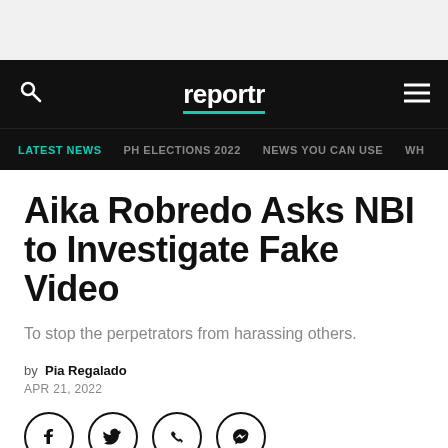reportr — LATEST NEWS | PH ELECTIONS 2022 | NEWS YOU CAN USE
Aika Robredo Asks NBI to Investigate Fake Video
To stop the perpetrators from harassing others.
by Pia Regalado
APR 21, 2022
[Figure (other): Social media share icons: Facebook, Twitter, Viber, Messenger]